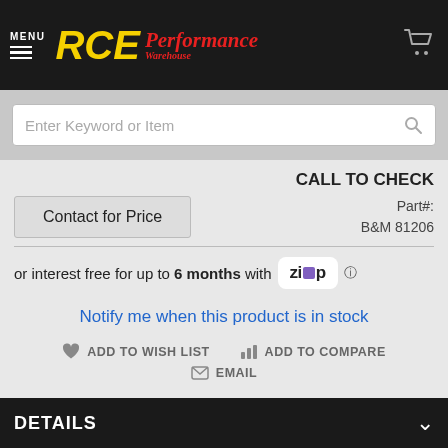MENU | RCE Performance Warehouse
Enter Keyword or Item
CALL TO CHECK
Contact for Price
Part#: B&M 81206
or interest free for up to 6 months with Zip
Notify me when this product is in stock
ADD TO WISH LIST   ADD TO COMPARE   EMAIL
DETAILS